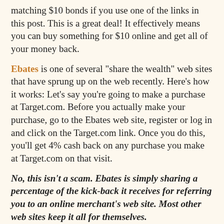matching $10 bonds if you use one of the links in this post. This is a great deal! It effectively means you can buy something for $10 online and get all of your money back.
Ebates is one of several "share the wealth" web sites that have sprung up on the web recently. Here's how it works: Let's say you're going to make a purchase at Target.com. Before you actually make your purchase, go to the Ebates web site, register or log in and click on the Target.com link. Once you do this, you'll get 4% cash back on any purchase you make at Target.com on that visit.
No, this isn't a scam. Ebates is simply sharing a percentage of the kick-back it receives for referring you to an online merchant's web site. Most other web sites keep it all for themselves.
Other great cash back sites include:
BondRewards: Instead of giving you cash, Bond Rewards lets you collect points redeemable for U.S. Savings Bonds. To find the true "cash value" of the bond points you receives at Bond Rewards, simply divide them by two (since a $50...